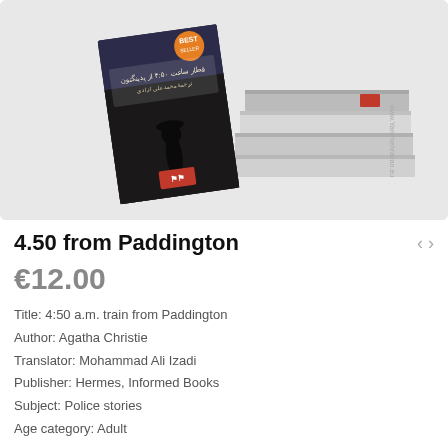[Figure (photo): A book titled '4.50 from Paddington' in Persian, leaning against a stack of books on a white background. The book cover shows a figure on a dark city street with Persian text and a red publisher logo.]
4.50 from Paddington
€12.00
Title: 4:50 a.m. train from Paddington
Author: Agatha Christie
Translator: Mohammad Ali Izadi
Publisher: Hermes, Informed Books
Subject: Police stories
Age category: Adult